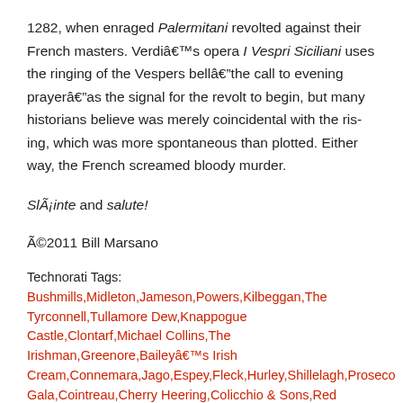1282, when enraged Palermitani revolted against their French masters. Verdi's opera I Vespri Siciliani uses the ringing of the Vespers bell—the call to evening prayer—as the signal for the revolt to begin, but many historians believe was merely coincidental with the rising, which was more spontaneous than plotted. Either way, the French screamed bloody murder.
Sláinte and salute!
©2011 Bill Marsano
Technorati Tags: Bushmills,Midleton,Jameson,Powers,Kilbeggan,The Tyrconnell,Tullamore Dew,Knappogue Castle,Clontarf,Michael Collins,The Irishman,Greenore,Bailey's Irish Cream,Connemara,Jago,Espey,Fleck,Hurley,Shillelagh,Proseco Gala,Cointreau,Cherry Heering,Colicchio & Sons,Red Priest,Sicilian Vespers